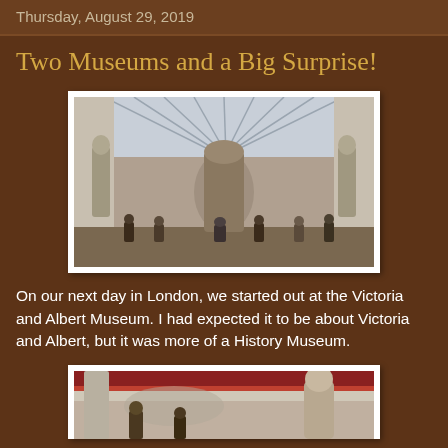Thursday, August 29, 2019
Two Museums and a Big Surprise!
[Figure (photo): Interior of the Victoria and Albert Museum showing a long gallery with a glass ceiling, sculptures on pedestals, and visitors walking through the hall.]
On our next day in London, we started out at the Victoria and Albert Museum. I had expected it to be about Victoria and Albert, but it was more of a History Museum.
[Figure (photo): Interior of a museum gallery with classical architectural details, showing statues and visitors.]